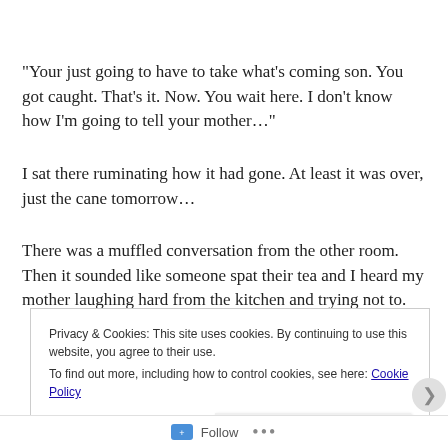“Your just going to have to take what’s coming son. You got caught. That’s it. Now. You wait here. I don’t know how I’m going to tell your mother…”
I sat there ruminating how it had gone. At least it was over, just the cane tomorrow…
There was a muffled conversation from the other room. Then it sounded like someone spat their tea and I heard my mother laughing hard from the kitchen and trying not to.
Privacy & Cookies: This site uses cookies. By continuing to use this website, you agree to their use.
To find out more, including how to control cookies, see here: Cookie Policy
Close and accept
Follow ...